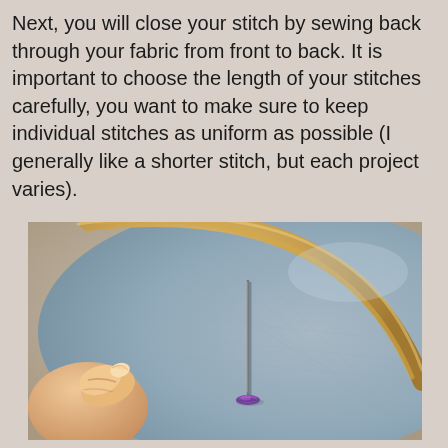Next, you will close your stitch by sewing back through your fabric from front to back. It is important to choose the length of your stitches carefully, you want to make sure to keep individual stitches as uniform as possible (I generally like a shorter stitch, but each project varies).
[Figure (photo): Close-up photograph of an embroidery hoop with light blue/grey fabric stretched inside it. A wooden hoop frame is visible along the top and left edge. A hand (thumb and fingers) holds the hoop from the lower-left. In the center of the fabric, a needle (dark grey) is inserted vertically into the fabric, with a small knot of purple/violet thread visible at the base of the needle on the fabric surface.]